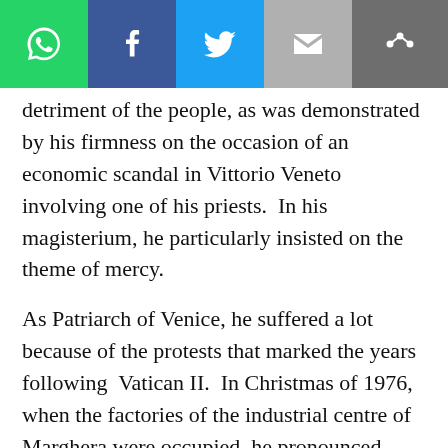[Figure (infographic): Social share bar with WhatsApp (green), Facebook (blue), Twitter (light blue), Email (grey), and a share icon (dark grey) buttons]
detriment of the people, as was demonstrated by his firmness on the occasion of an economic scandal in Vittorio Veneto involving one of his priests.  In his magisterium, he particularly insisted on the theme of mercy.
As Patriarch of Venice, he suffered a lot because of the protests that marked the years following  Vatican II.  In Christmas of 1976, when the factories of the industrial centre of Marghera were occupied, he pronounced words which are still very relevant today. “Showing off luxury, wasting money, refusing to invest it, stashing it away abroad, does not only constitute insensitivity and egoism: it can become provocation and weigh on our heads what Pope Paul VI calls ‘the wrath of the poor with